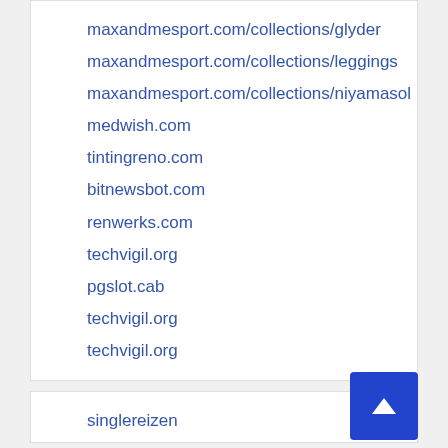maxandmesport.com/collections/glyder
maxandmesport.com/collections/leggings
maxandmesport.com/collections/niyamasol
medwish.com
tintingreno.com
bitnewsbot.com
renwerks.com
techvigil.org
pgslot.cab
techvigil.org
techvigil.org
singlereizen